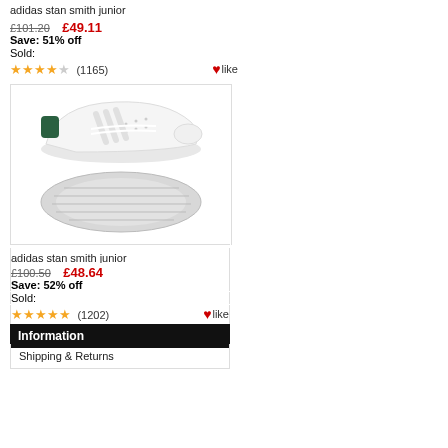adidas stan smith junior
£101.20  £49.11
Save: 51% off
Sold:
★★★★☆ (1165)  ♥like
[Figure (photo): Adidas Stan Smith Junior white sneaker with green heel tab, shown from side and bottom sole view]
adidas stan smith junior
£100.50  £48.64
Save: 52% off
Sold:
★★★★★ (1202)  ♥like
Information
Shipping & Returns